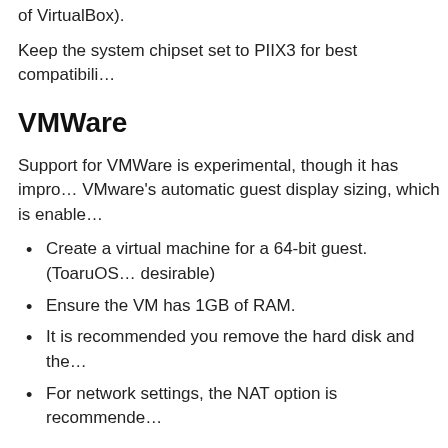of VirtualBox).
Keep the system chipset set to PIIX3 for best compatibili…
VMWare
Support for VMWare is experimental, though it has impro… VMware's automatic guest display sizing, which is enable…
Create a virtual machine for a 64-bit guest. (ToaruOS… desirable)
Ensure the VM has 1GB of RAM.
It is recommended you remove the hard disk and the…
For network settings, the NAT option is recommende…
Bochs
Using Bochs to run ToaruOS is not advised; however the…
Attach the CD and set it as a boot device.